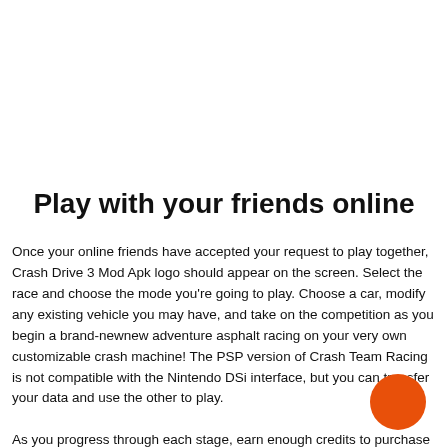Play with your friends online
Once your online friends have accepted your request to play together, Crash Drive 3 Mod Apk logo should appear on the screen. Select the race and choose the mode you're going to play. Choose a car, modify any existing vehicle you may have, and take on the competition as you begin a brand-newnew adventure asphalt racing on your very own customizable crash machine! The PSP version of Crash Team Racing is not compatible with the Nintendo DSi interface, but you can transfer your data and use the other to play.
As you progress through each stage, earn enough credits to purchase